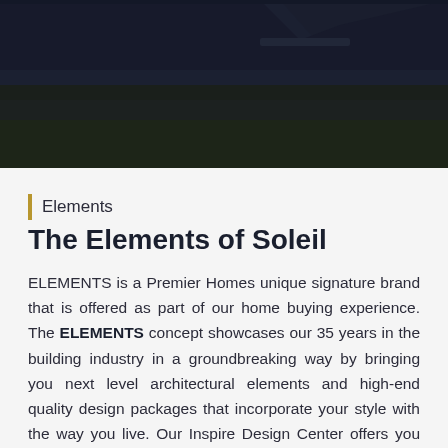[Figure (photo): Dark hero image showing a building exterior at night or dusk, with dark navy background and some architectural/roof elements visible]
Elements
The Elements of Soleil
ELEMENTS is a Premier Homes unique signature brand that is offered as part of our home buying experience. The ELEMENTS concept showcases our 35 years in the building industry in a groundbreaking way by bringing you next level architectural elements and high-end quality design packages that incorporate your style with the way you live. Our Inspire Design Center offers you the opportunity to personalize your home in an environment that features a vast array of interior selections that range from traditional to contemporary.